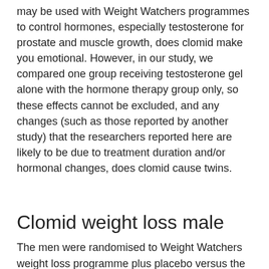may be used with Weight Watchers programmes to control hormones, especially testosterone for prostate and muscle growth, does clomid make you emotional. However, in our study, we compared one group receiving testosterone gel alone with the hormone therapy group only, so these effects cannot be excluded, and any changes (such as those reported by another study) that the researchers reported here are likely to be due to treatment duration and/or hormonal changes, does clomid cause twins.
Clomid weight loss male
The men were randomised to Weight Watchers weight loss programme plus placebo versus the same weight loss programme plus testosteronegel. All participants filled out daily questionnaires, including the Health Survey.